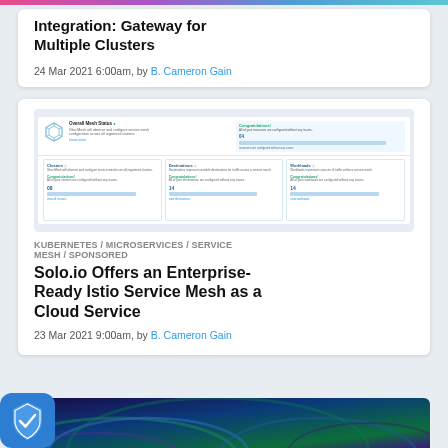Integration: Gateway for Multiple Clusters
24 Mar 2021 6:00am, by B. Cameron Gain
[Figure (screenshot): Screenshot of a service mesh dashboard UI showing Overall Mesh Status with Clusters, Destinations, and Workloads panels, each showing Congratulations status messages and numbered metrics with blue bars.]
KUBERNETES / MICROSERVICES / SERVICE MESH / SPONSORED
Solo.io Offers an Enterprise-Ready Istio Service Mesh as a Cloud Service
23 Mar 2021 9:00am, by B. Cameron Gain
[Figure (photo): Abstract colorful swirling background image with blue, green, and purple colors partially visible at bottom of page]